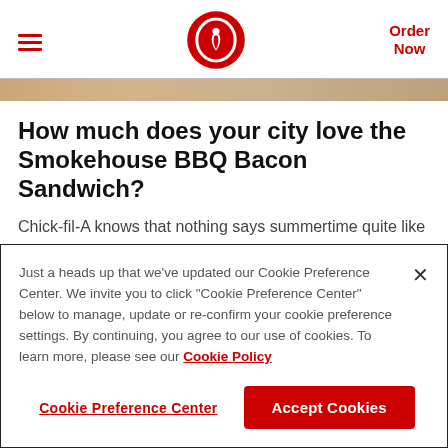Chick-fil-A header with hamburger menu, logo, and Order Now link
How much does your city love the Smokehouse BBQ Bacon Sandwich?
Chick-fil-A knows that nothing says summertime quite like the smoky, sweet flavor of backyard-grilled barbeque. That's why we've added the Smokehouse BBQ
Just a heads up that we've updated our Cookie Preference Center. We invite you to click "Cookie Preference Center" below to manage, update or re-confirm your cookie preference settings. By continuing, you agree to our use of cookies. To learn more, please see our Cookie Policy
Cookie Preference Center | Accept Cookies